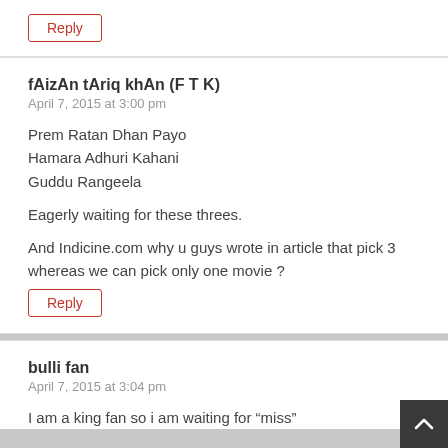Reply
fAizAn tAriq khAn (F T K)
April 7, 2015 at 3:00 pm
Prem Ratan Dhan Payo
Hamara Adhuri Kahani
Guddu Rangeela
Eagerly waiting for these threes.
And Indicine.com why u guys wrote in article that pick 3 whereas we can pick only one movie ?
Reply
bulli fan
April 7, 2015 at 3:04 pm
I am a king fan so i am waiting for “miss”